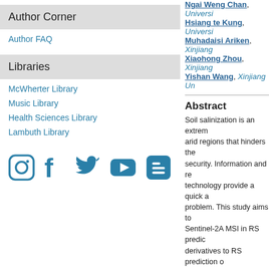Ngai Weng Chan, University...
Hsiang te Kung, Universi...
Muhadaisi Ariken, Xinjiang...
Xiaohong Zhou, Xinjiang...
Yishan Wang, Xinjiang Un...
Author Corner
Author FAQ
Libraries
McWherter Library
Music Library
Health Sciences Library
Lambuth Library
[Figure (other): Social media icons: Instagram, Facebook, Twitter, YouTube, Blogger in teal color]
Abstract
Soil salinization is an extrem... arid regions that hinders the... security. Information and re... technology provide a quick a... problem. This study aims to... Sentinel-2A MSI in RS predic... derivatives to RS prediction o... be used in the Landsat-8 OL... used as a data source as well... a regional scale. The two-dim... spectral indices are used to so... (0–10 cm), and RS data and... learning to construct a comp... gray correlation analysis. The... (2D, 3D) can effectively cons... interaction effects and respo... circumvent the problem of a... Both the Landsat-8 OLI and...